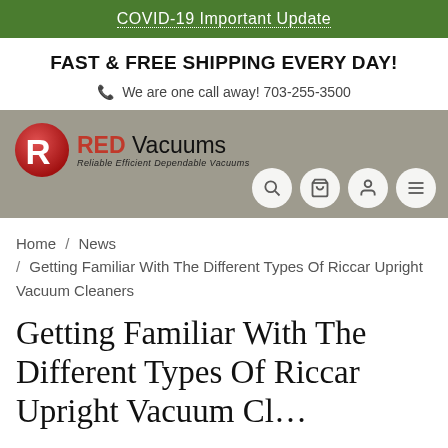COVID-19 Important Update
FAST & FREE SHIPPING EVERY DAY!
We are one call away! 703-255-3500
[Figure (logo): Red Vacuums logo with red R emblem and tagline 'Reliable Efficient Dependable Vacuums']
Home / News / Getting Familiar With The Different Types Of Riccar Upright Vacuum Cleaners
Getting Familiar With The Different Types Of Riccar Upright Vacuum Cleaners